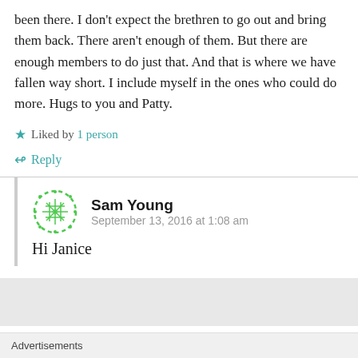been there. I don't expect the brethren to go out and bring them back. There aren't enough of them. But there are enough members to do just that. And that is where we have fallen way short. I include myself in the ones who could do more. Hugs to you and Patty.
★ Liked by 1 person
↳ Reply
Sam Young
September 13, 2016 at 1:08 am
Hi Janice
Advertisements